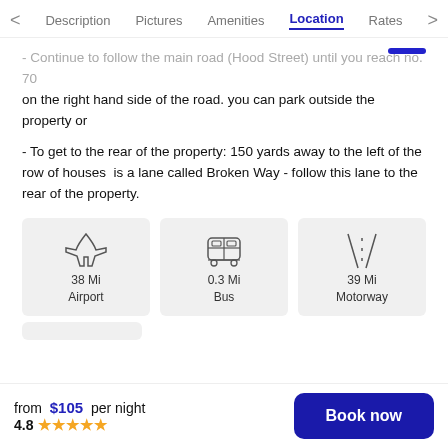< Description  Pictures  Amenities  Location  Rates >
- Continue to follow the main road (Hood Street) until you reach no. 70 on the right hand side of the road. you can park outside the property or
- To get to the rear of the property: 150 yards away to the left of the row of houses  is a lane called Broken Way - follow this lane to the rear of the property.
[Figure (infographic): Three transport info cards: airplane icon '38 Mi Airport', bus icon '0.3 Mi Bus', road icon '39 Mi Motorway']
from $105 per night
4.8 ★★★★★
Book now